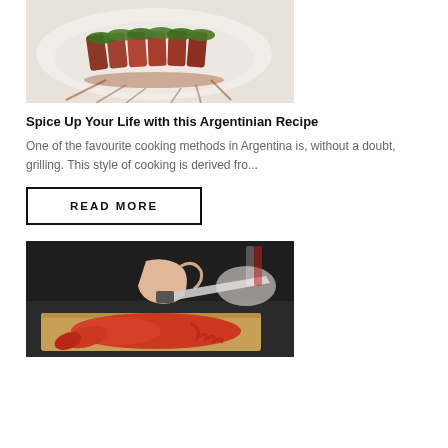[Figure (photo): Sliced grilled meat with green herb topping on a white plate with sauce drizzle]
Spice Up Your Life with this Argentinian Recipe
One of the favourite cooking methods in Argentina is, without a doubt, grilling. This style of cooking is derived fro...
READ MORE
[Figure (photo): Chef cutting a lobster on a wooden cutting board with a large knife]